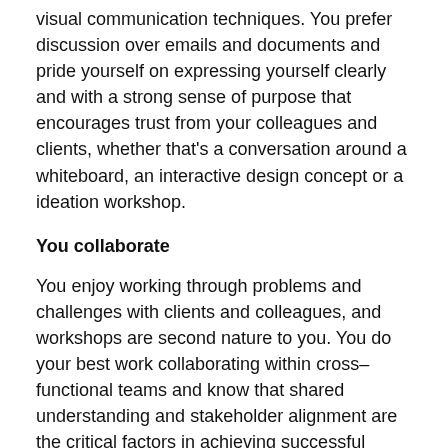visual communication techniques. You prefer discussion over emails and documents and pride yourself on expressing yourself clearly and with a strong sense of purpose that encourages trust from your colleagues and clients, whether that's a conversation around a whiteboard, an interactive design concept or a ideation workshop.
You collaborate
You enjoy working through problems and challenges with clients and colleagues, and workshops are second nature to you. You do your best work collaborating within cross–functional teams and know that shared understanding and stakeholder alignment are the critical factors in achieving successful outcomes. You instinctively share your findings and ideas with colleagues, peers and the community, and love to see them adapt and evolve as a result of constructive criticism.
You value outputs, but not as much as outcomes
You know the best way to tackle complex problems is by remaining adaptable, understanding and respecting the